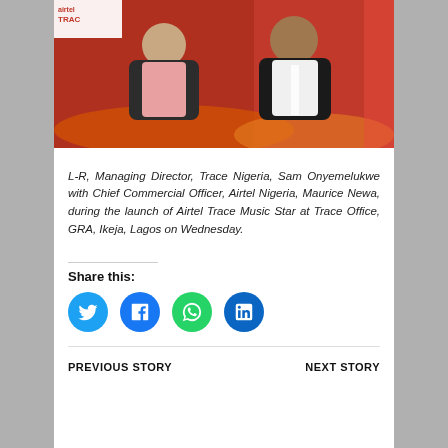[Figure (photo): Two men seated, smiling, with Airtel Trace branding in background. Left man wearing pink shirt and dark suit, right man wearing dark suit and white shirt.]
L-R, Managing Director, Trace Nigeria, Sam Onyemelukwe with Chief Commercial Officer, Airtel Nigeria, Maurice Newa, during the launch of Airtel Trace Music Star at Trace Office, GRA, Ikeja, Lagos on Wednesday.
Share this:
PREVIOUS STORY
NEXT STORY